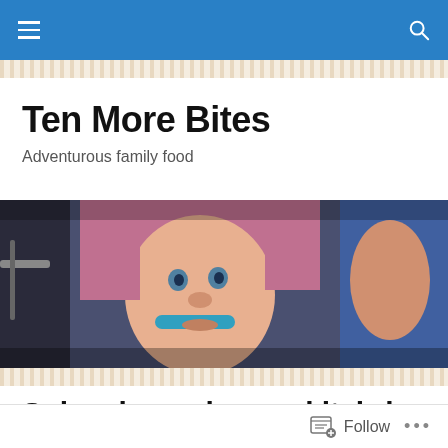Ten More Bites — navigation bar with hamburger menu and search icon
Ten More Bites
Adventurous family food
[Figure (photo): Close-up photo of a young child in a pink hooded outfit eating with a blue spoon, with another person visible to the right]
Spinach mushroom kitchri
[Figure (photo): Partial view of a bowl of food on a tan/wooden surface, contents not fully visible]
Follow  •••